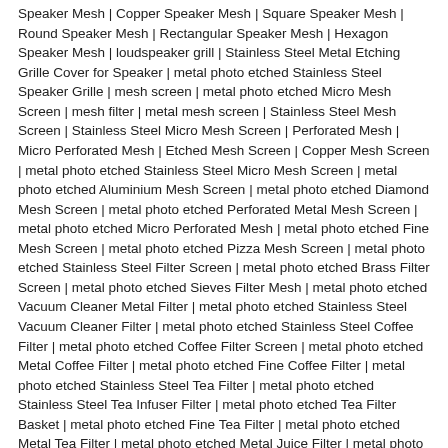Speaker Mesh | Copper Speaker Mesh | Square Speaker Mesh | Round Speaker Mesh | Rectangular Speaker Mesh | Hexagon Speaker Mesh | loudspeaker grill | Stainless Steel Metal Etching Grille Cover for Speaker | metal photo etched Stainless Steel Speaker Grille | mesh screen | metal photo etched Micro Mesh Screen | mesh filter | metal mesh screen | Stainless Steel Mesh Screen | Stainless Steel Micro Mesh Screen | Perforated Mesh | Micro Perforated Mesh | Etched Mesh Screen | Copper Mesh Screen | metal photo etched Stainless Steel Micro Mesh Screen | metal photo etched Aluminium Mesh Screen | metal photo etched Diamond Mesh Screen | metal photo etched Perforated Metal Mesh Screen | metal photo etched Micro Perforated Mesh | metal photo etched Fine Mesh Screen | metal photo etched Pizza Mesh Screen | metal photo etched Stainless Steel Filter Screen | metal photo etched Brass Filter Screen | metal photo etched Sieves Filter Mesh | metal photo etched Vacuum Cleaner Metal Filter | metal photo etched Stainless Steel Vacuum Cleaner Filter | metal photo etched Stainless Steel Coffee Filter | metal photo etched Coffee Filter Screen | metal photo etched Metal Coffee Filter | metal photo etched Fine Coffee Filter | metal photo etched Stainless Steel Tea Filter | metal photo etched Stainless Steel Tea Infuser Filter | metal photo etched Tea Filter Basket | metal photo etched Fine Tea Filter | metal photo etched Metal Tea Filter | metal photo etched Metal Juice Filter | metal photo etched Fine Juice Filter | IC Lead Frame | leadframe | Metal Photo Etched Dummy Lead Frame | metal photo etched Dummy Lead Frame | metal photo etched EMI and RFI Shielding | metal photo etched EMI Shielding | metal photo etched EMC EMI Shielding | metal photo etched Aluminium EMI Shielding | metal photo etched Brass EMI Shielding | metal photo etched Copper EMI Shielding | metal photo etched PCB Shielding | metal photo etched EMI RFI Shielding | metal photo etched EMI Shielding Mesh | metal photo etched RFI Shielding | metal photo etched RFI Shielding Mesh | metal photo etched Etched Shims | metal photo etched Metal Shims | metal photo etched Metal Washers | metal photo etched Aluminum Washers | metal photo etched Brass Washers | metal photo etched Copper Washers | metal photo etched Etched Washers | metal photo etched Etched...